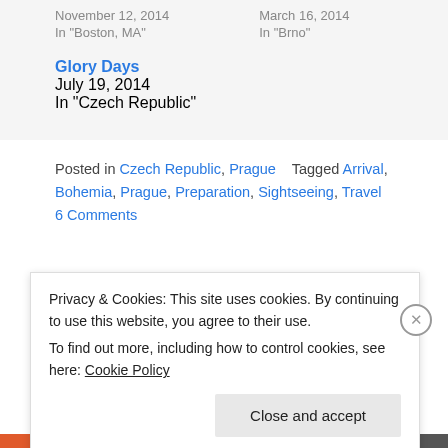November 12, 2014
In "Boston, MA"
March 16, 2014
In "Brno"
Glory Days
July 19, 2014
In "Czech Republic"
Posted in Czech Republic, Prague    Tagged Arrival, Bohemia, Prague, Preparation, Sightseeing, Travel   6 Comments
1 Week to Goooo
Diving Deeper
Privacy & Cookies: This site uses cookies. By continuing to use this website, you agree to their use.
To find out more, including how to control cookies, see here: Cookie Policy
Close and accept